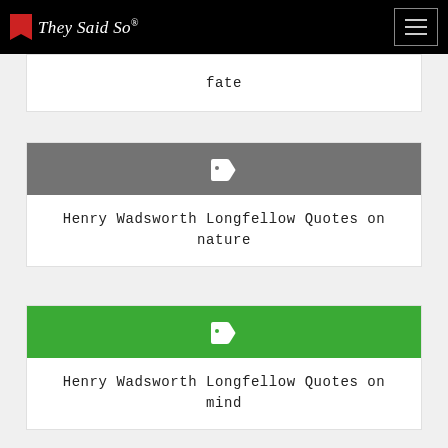They Said So®
fate
Henry Wadsworth Longfellow Quotes on nature
Henry Wadsworth Longfellow Quotes on mind